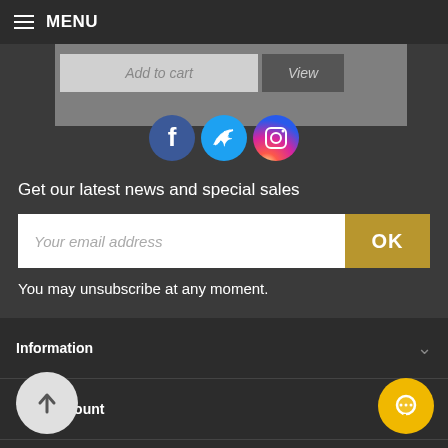MENU
[Figure (screenshot): Partially visible product listing with Add to cart and View buttons, and a gray product image placeholder]
[Figure (illustration): Social media icons: Facebook (blue circle), Twitter (blue circle), Instagram (pink/purple circle)]
Get our latest news and special sales
Your email address
OK
You may unsubscribe at any moment.
Information
Your account
Information